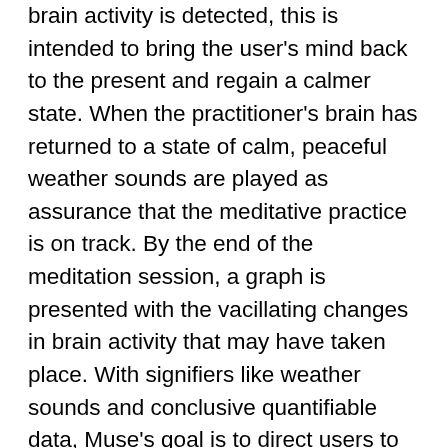brain activity is detected, this is intended to bring the user's mind back to the present and regain a calmer state. When the practitioner's brain has returned to a state of calm, peaceful weather sounds are played as assurance that the meditative practice is on track. By the end of the meditation session, a graph is presented with the vacillating changes in brain activity that may have taken place. With signifiers like weather sounds and conclusive quantifiable data, Muse's goal is to direct users to achieve the best meditation and maximize their health benefits in the long haul. The idea is that over time, an individual can learn to properly meditate and maintain that state of mind throughout their daily lives.